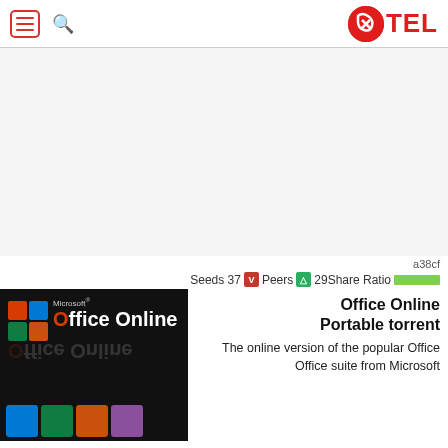XTEL
[Figure (other): Advertisement / blank area]
a38cf
Seeds 37 V Peers A 29Share Ratio ████
[Figure (screenshot): Microsoft Office Online product logo with colorful grid icon and product name]
Office Online Portable torrent
The online version of the popular Office Office suite from Microsoft